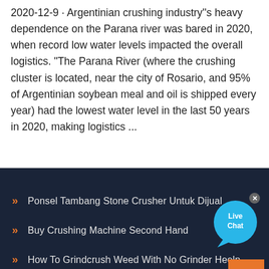2020-12-9 · Argentinian crushing industry''s heavy dependence on the Parana river was bared in 2020, when record low water levels impacted the overall logistics. "The Parana River (where the crushing cluster is located, near the city of Rosario, and 95% of Argentinian soybean meal and oil is shipped every year) had the lowest water level in the last 50 years in 2020, making logistics ...
[Figure (other): Live Chat bubble widget with close button]
Ponsel Tambang Stone Crusher Untuk Dijual
Buy Crushing Machine Second Hand
How To Grindcrush Weed With No Grinder Heelp